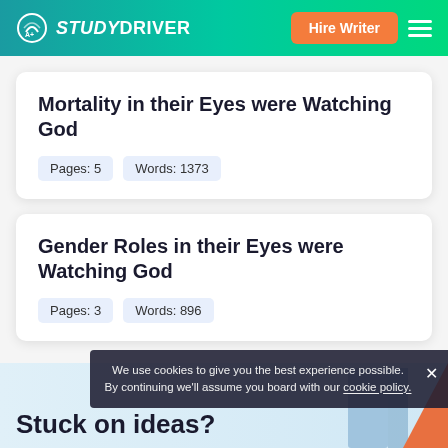STUDYDRIVER — Hire Writer
Mortality in their Eyes were Watching God
Pages: 5   Words: 1373
Gender Roles in their Eyes were Watching God
Pages: 3   Words: 896
Stuck on ideas?
We use cookies to give you the best experience possible. By continuing we'll assume you board with our cookie policy.